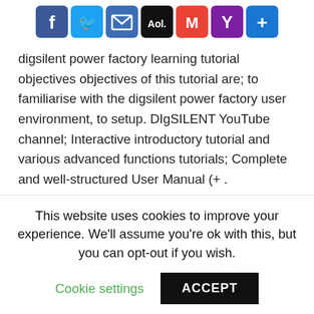[Figure (other): Row of social media sharing icon buttons: Facebook (blue), Twitter (light blue), Email/envelope (blue), AOL (black), Gmail (red), Yahoo (purple), Share/plus (blue)]
digsilent power factory learning tutorial objectives objectives of this tutorial are; to familiarise with the digsilent power factory user environment, to setup. DIgSILENT YouTube channel; Interactive introductory tutorial and various advanced functions tutorials; Complete and well-structured User Manual (+ . DIgSILENT has set standards and trends in power system modelling, analysis and simulation for more than 25 years. The proven advantages.
This website uses cookies to improve your experience. We'll assume you're ok with this, but you can opt-out if you wish.
Cookie settings
ACCEPT